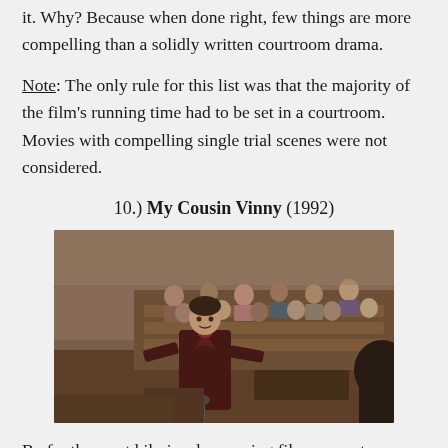it. Why? Because when done right, few things are more compelling than a solidly written courtroom drama.
Note: The only rule for this list was that the majority of the film's running time had to be set in a courtroom. Movies with compelling single trial scenes were not considered.
10.) My Cousin Vinny (1992)
[Figure (photo): A scene from My Cousin Vinny (1992) showing a man in a dark red velvet suit standing in a courtroom with spectators seated in the gallery behind him.]
By far the most hilariously amusing film ever set